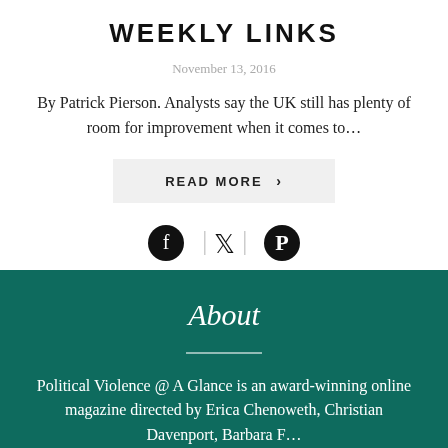WEEKLY LINKS
November 13, 2016
By Patrick Pierson. Analysts say the UK still has plenty of room for improvement when it comes to...
READ MORE >
[Figure (other): Social media share icons: Facebook, Twitter, Pinterest]
About
Political Violence @ A Glance is an award-winning online magazine directed by Erica Chenoweth, Christian Davenport, Barbara F...